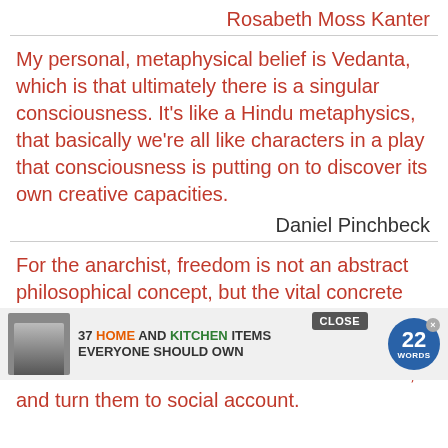Rosabeth Moss Kanter
My personal, metaphysical belief is Vedanta, which is that ultimately there is a singular consciousness. It's like a Hindu metaphysics, that basically we're all like characters in a play that consciousness is putting on to discover its own creative capacities.
Daniel Pinchbeck
For the anarchist, freedom is not an abstract philosophical concept, but the vital concrete possibility of every human being to bring to full development all the powers, faculties, and talents with which nature has endowed them, and turn them to social account.
[Figure (other): Advertisement overlay showing '37 HOME AND KITCHEN ITEMS EVERYONE SHOULD OWN' with a close button and 22 Words badge]